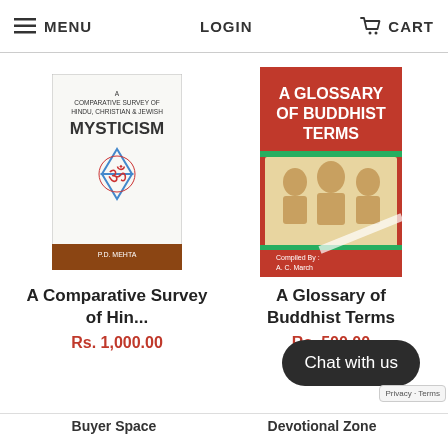MENU    LOGIN    CART
[Figure (illustration): Book cover: A Comparative Survey of Hindu, Christian & Jewish Mysticism with Star of David and Om symbol]
A Comparative Survey of Hin...
Rs. 1,000.00
[Figure (illustration): Book cover: A Glossary of Buddhist Terms, red cover with Buddhist deity figures, compiled by A.C. March]
A Glossary of Buddhist Terms
Rs. 500.00
Buyer Space    Devotional Zone